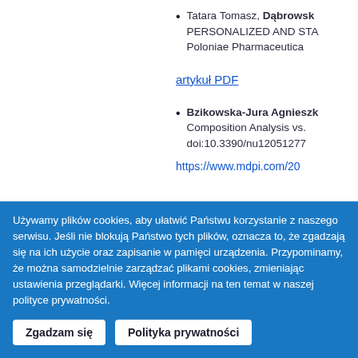Tatara Tomasz, Dąbrowsk... PERSONALIZED AND STA... Poloniae Pharmaceutica
artykuł PDF
Bzikowska-Jura Agnieszk... Composition Analysis vs. doi:10.3390/nu12051277
https://www.mdpi.com/20...
Używamy plików cookies, aby ułatwić Państwu korzystanie z naszego serwisu. Jeśli nie blokują Państwo tych plików, oznacza to, że zgadzają się na ich użycie oraz zapisanie w pamięci urządzenia. Przypominamy, że można samodzielnie zarządzać plikami cookies, zmieniając ustawienia przeglądarki. Więcej informacji na ten temat w naszej polityce prywatności.
Zgadzam się | Polityka prywatności